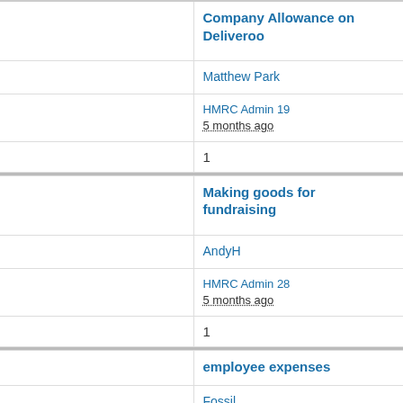Company Allowance on Deliveroo
Matthew Park
HMRC Admin 19
5 months ago
1
Making goods for fundraising
AndyH
HMRC Admin 28
5 months ago
1
employee expenses
Fossil